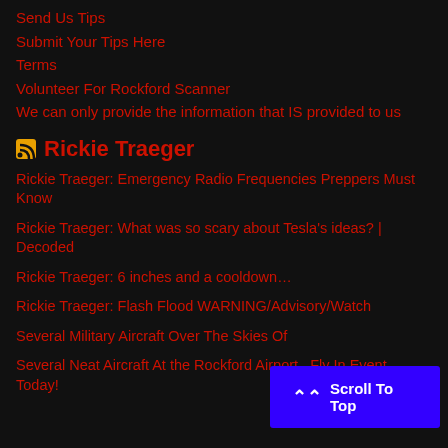Send Us Tips
Submit Your Tips Here
Terms
Volunteer For Rockford Scanner
We can only provide the information that IS provided to us
Rickie Traeger
Rickie Traeger: Emergency Radio Frequencies Preppers Must Know
Rickie Traeger: What was so scary about Tesla's ideas? | Decoded
Rickie Traeger: 6 inches and a cooldown…
Rickie Traeger: Flash Flood WARNING/Advisory/Watch
Several Military Aircraft Over The Skies Of...
Several Neat Aircraft At the Rockford Airport...Fly In Event Today!
Scroll To Top